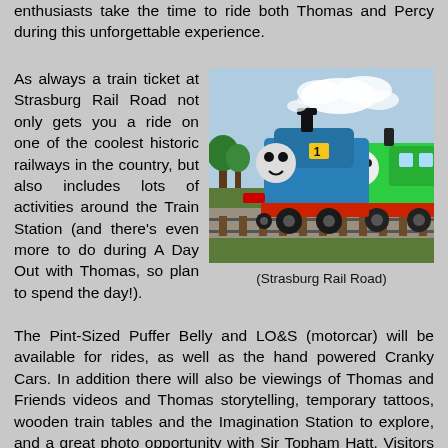enthusiasts take the time to ride both Thomas and Percy during this unforgettable experience.
As always a train ticket at Strasburg Rail Road not only gets you a ride on one of the coolest historic railways in the country, but also includes lots of activities around the Train Station (and there's even more to do during A Day Out with Thomas, so plan to spend the day!).  The Pint-Sized Puffer Belly and LO&S (motorcar) will be available for rides, as well as the hand powered Cranky Cars.  In addition there will also be viewings of Thomas and Friends videos and Thomas storytelling, temporary tattoos, wooden train tables and the Imagination Station to explore, and a great photo opportunity with Sir Topham Hatt.  Visitors can also
[Figure (photo): Photo of Thomas the Tank Engine (blue) and Percy (green) locomotives at Strasburg Rail Road, on outdoor tracks.]
(Strasburg Rail Road)